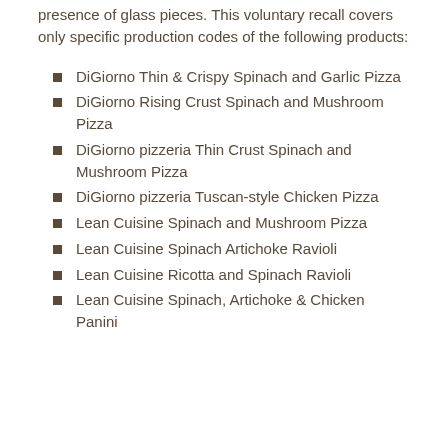presence of glass pieces. This voluntary recall covers only specific production codes of the following products:
DiGiorno Thin & Crispy Spinach and Garlic Pizza
DiGiorno Rising Crust Spinach and Mushroom Pizza
DiGiorno pizzeria Thin Crust Spinach and Mushroom Pizza
DiGiorno pizzeria Tuscan-style Chicken Pizza
Lean Cuisine Spinach and Mushroom Pizza
Lean Cuisine Spinach Artichoke Ravioli
Lean Cuisine Ricotta and Spinach Ravioli
Lean Cuisine Spinach, Artichoke & Chicken Panini